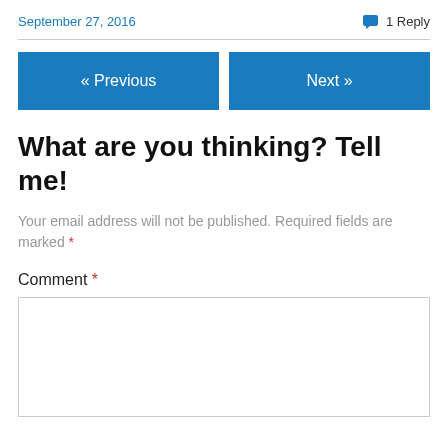September 27, 2016    💬 1 Reply
« Previous    Next »
What are you thinking? Tell me!
Your email address will not be published. Required fields are marked *
Comment *